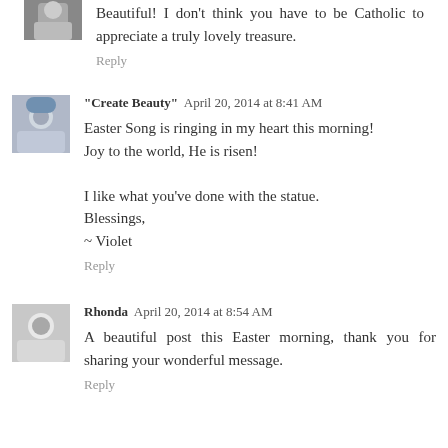Beautiful! I don't think you have to be Catholic to appreciate a truly lovely treasure.
Reply
"Create Beauty"  April 20, 2014 at 8:41 AM
Easter Song is ringing in my heart this morning!
Joy to the world, He is risen!

I like what you've done with the statue.
Blessings,
~ Violet
Reply
Rhonda  April 20, 2014 at 8:54 AM
A beautiful post this Easter morning, thank you for sharing your wonderful message.
Reply